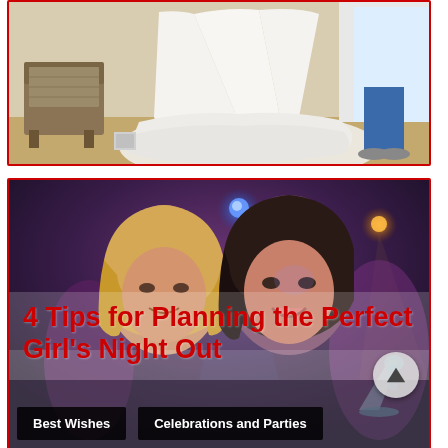[Figure (photo): A wedding dress displayed in a room with an ornate chair visible on the left and a person in jeans and sneakers standing near the dress on the right.]
[Figure (photo): Women at a nightclub/party scene with colorful lights in the background, holding cocktails and smiling.]
4 Tips for Planning the Perfect Girl's Night Out
Best Wishes
Celebrations and Parties